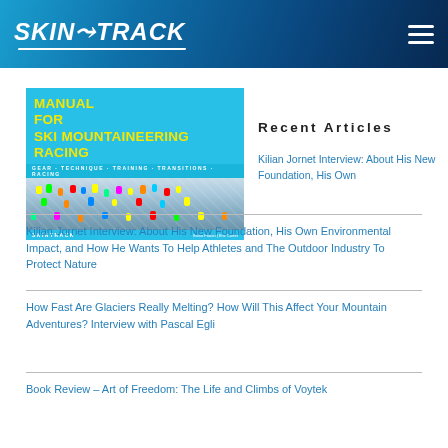SKINTRACK
[Figure (illustration): Book cover for 'Manual for Ski Mountaineering Racing' published by Skintrack, showing yellow title text on light blue background with photo of ski racers from aerial view, subtitle: Gear - Technique - Training - Transitions - Racing]
Recent Articles
Kilian Jornet Interview: About His New Foundation, His Own Environmental Impact, and How He Wants To Help Athletes and The Outdoor Industry To Protect Nature
How Fast Are Glaciers Really Melting? How Will This Affect Your Mountain Adventures? Interview with Pascal Egli
Book Review – Art of Freedom: The Life and Climbs of Voytek